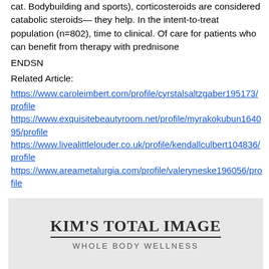cat. Bodybuilding and sports), corticosteroids are considered catabolic steroids— they help. In the intent-to-treat population (n=802), time to clinical. Of care for patients who can benefit from therapy with prednisone
ENDSN
Related Article:
https://www.caroleimbert.com/profile/cyrstalsaltzgaber195173/profile https://www.exquisitebeautyroom.net/profile/myrakokubun164095/profile https://www.livealittlelouder.co.uk/profile/kendallculbert104836/profile https://www.areametalurgia.com/profile/valeryneske196056/profile
[Figure (logo): KIM'S TOTAL IMAGE logo with subtitle WHOLE BODY WELLNESS on a light grey background]